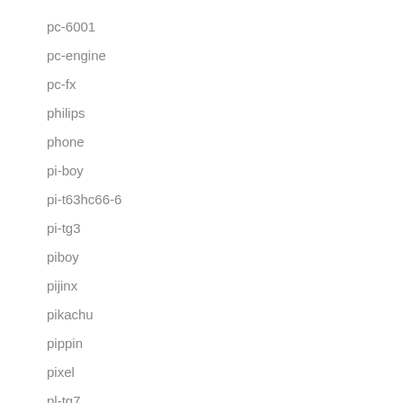pc-6001
pc-engine
pc-fx
philips
phone
pi-boy
pi-t63hc66-6
pi-tg3
piboy
pijinx
pikachu
pippin
pixel
pl-tg7
play